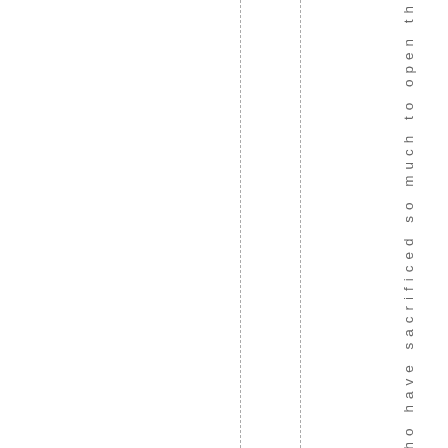who have sacrificed so much to open th